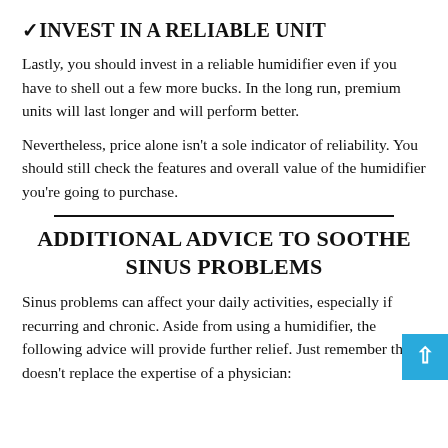✓INVEST IN A RELIABLE UNIT
Lastly, you should invest in a reliable humidifier even if you have to shell out a few more bucks. In the long run, premium units will last longer and will perform better.
Nevertheless, price alone isn't a sole indicator of reliability. You should still check the features and overall value of the humidifier you're going to purchase.
ADDITIONAL ADVICE TO SOOTHE SINUS PROBLEMS
Sinus problems can affect your daily activities, especially if recurring and chronic. Aside from using a humidifier, the following advice will provide further relief. Just remember this doesn't replace the expertise of a physician: